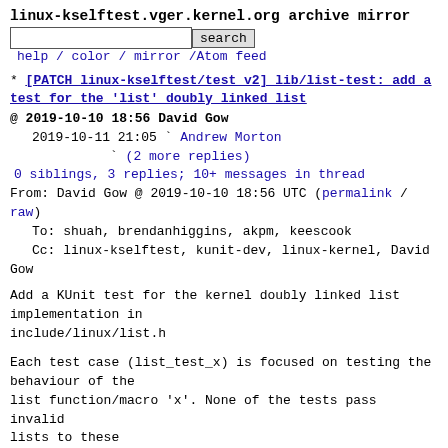linux-kselftest.vger.kernel.org archive mirror
search  help / color / mirror / Atom feed
* [PATCH linux-kselftest/test v2] lib/list-test: add a test for the 'list' doubly linked list
@ 2019-10-10 18:56 David Gow
  2019-10-11 21:05 ` Andrew Morton
                   ` (2 more replies)
  0 siblings, 3 replies; 10+ messages in thread
From: David Gow @ 2019-10-10 18:56 UTC (permalink / raw)
  To: shuah, brendanhiggins, akpm, keescook
  Cc: linux-kselftest, kunit-dev, linux-kernel, David Gow
Add a KUnit test for the kernel doubly linked list implementation in
include/linux/list.h
Each test case (list_test_x) is focused on testing the behaviour of the
list function/macro 'x'. None of the tests pass invalid lists to these
macros, and so should behave identically with DEBUG_LIST enabled and
disabled.
Note that, at present, it only tests the list_ types